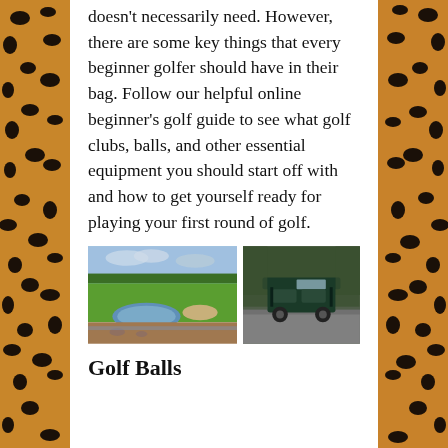doesn't necessarily need. However, there are some key things that every beginner golfer should have in their bag. Follow our helpful online beginner's golf guide to see what golf clubs, balls, and other essential equipment you should start off with and how to get yourself ready for playing your first round of golf.
[Figure (photo): Two side-by-side photos: left shows a golf course with green fairway, water hazard, and cloudy sky; right shows a golf cart parked on a path surrounded by trees.]
Golf Balls